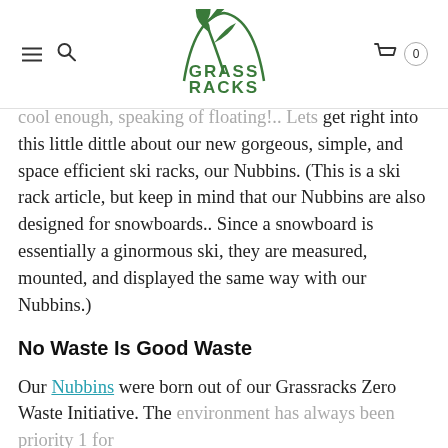GRASS RACKS
cool enough, speaking of floating!.. Lets get right into this little dittle about our new gorgeous, simple, and space efficient ski racks, our Nubbins. (This is a ski rack article, but keep in mind that our Nubbins are also designed for snowboards.. Since a snowboard is essentially a ginormous ski, they are measured, mounted, and displayed the same way with our Nubbins.)
No Waste Is Good Waste
Our Nubbins were born out of our Grassracks Zero Waste Initiative. The environment has always been priority 1 for